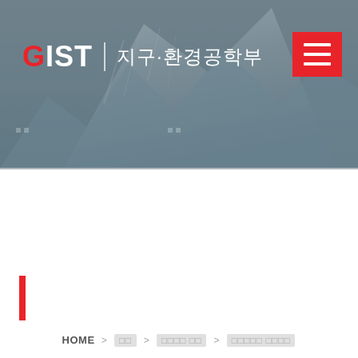[Figure (photo): GIST 지구·환경공학부 website header banner with mountain/iceberg background image, site logo and Korean department name, hamburger menu button in red]
HOME > □□ > □□□□ □□ > □□□□□ □□□□